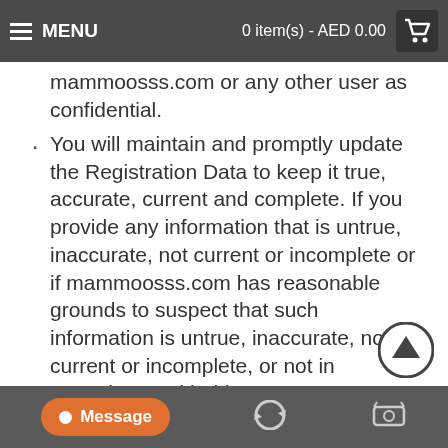MENU   0 item(s) - AED 0.00
mammoosss.com or any other user as confidential.
You will maintain and promptly update the Registration Data to keep it true, accurate, current and complete. If you provide any information that is untrue, inaccurate, not current or incomplete or if mammoosss.com has reasonable grounds to suspect that such information is untrue, inaccurate, not current or incomplete, or not in accordance with this User Agreement, without prejudice to any other rights and remedies of mammoosss.com under this User Agreement or at law, mammoosss.com has the right to indefinitely suspend, limit or withdraw
Message